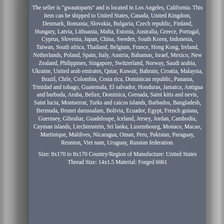The seller is "gwautoparts" and is located in Los Angeles, California. This item can be shipped to United States, Canada, United Kingdom, Denmark, Romania, Slovakia, Bulgaria, Czech republic, Finland, Hungary, Latvia, Lithuania, Malta, Estonia, Australia, Greece, Portugal, Cyprus, Slovenia, Japan, China, Sweden, South Korea, Indonesia, Taiwan, South africa, Thailand, Belgium, France, Hong Kong, Ireland, Netherlands, Poland, Spain, Italy, Austria, Bahamas, Israel, Mexico, New Zealand, Philippines, Singapore, Switzerland, Norway, Saudi arabia, Ukraine, United arab emirates, Qatar, Kuwait, Bahrain, Croatia, Malaysia, Brazil, Chile, Colombia, Costa rica, Dominican republic, Panama, Trinidad and tobago, Guatemala, El salvador, Honduras, Jamaica, Antigua and barbuda, Aruba, Belize, Dominica, Grenada, Saint kitts and nevis, Saint lucia, Montserrat, Turks and caicos islands, Barbados, Bangladesh, Bermuda, Brunei darussalam, Bolivia, Ecuador, Egypt, French guiana, Guernsey, Gibraltar, Guadeloupe, Iceland, Jersey, Jordan, Cambodia, Cayman islands, Liechtenstein, Sri lanka, Luxembourg, Monaco, Macao, Martinique, Maldives, Nicaragua, Oman, Peru, Pakistan, Paraguay, Reunion, Viet nam, Uruguay, Russian federation.
Size: 8x170 to 8x170 Country/Region of Manufacture: United States Thread Size: 14x1.5 Material: Forged 6061